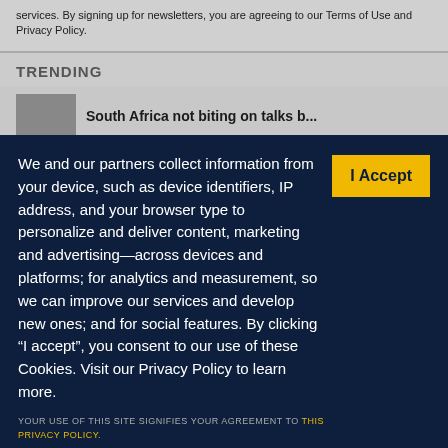services. By signing up for newsletters, you are agreeing to our Terms of Use and Privacy Policy.
TRENDING
[Figure (screenshot): Trending section preview with thumbnail image and partial headline text]
We and our partners collect information from your device, such as device identifiers, IP address, and your browser type to personalize and deliver content, marketing and advertising—across devices and platforms; for analytics and measurement, so we can improve our services and develop new ones; and for social features. By clicking “I accept”, you consent to our use of these Cookies. Visit our Privacy Policy to learn more.
YOUR USE OF THIS SITE SIGNIFIES YOUR AGREEMENT TO THIS PRIVACY POLICY.